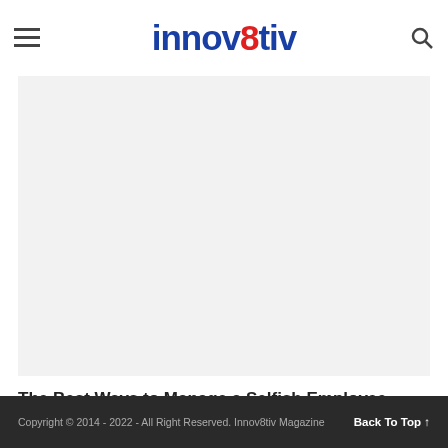innov8tiv
[Figure (photo): Large article image placeholder with light grey background]
The Best Ways to Manage a Selfish Employee
Copyright © 2014 - 2022 - All Right Reserved. Innov8tiv Magazine   Back To Top ↑